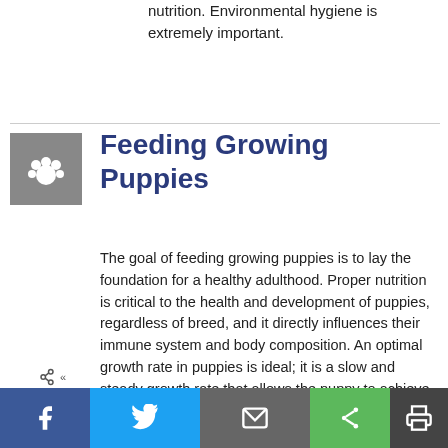nutrition. Environmental hygiene is extremely important.
Feeding Growing Puppies
The goal of feeding growing puppies is to lay the foundation for a healthy adulthood. Proper nutrition is critical to the health and development of puppies, regardless of breed, and it directly influences their immune system and body composition. An optimal growth rate in puppies is ideal; it is a slow and steady growth rate that allows the puppy to achieve an ideal adult body condition while avoiding excessive weight and obesity. Growing puppies need higher amounts of all nutrients in comparison to adult dogs, but excess